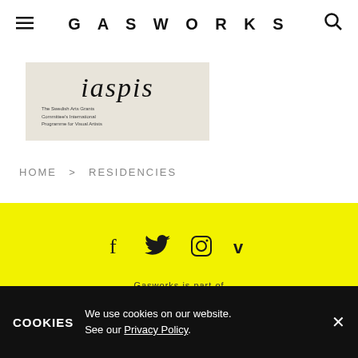GASWORKS
[Figure (logo): iaspis logo on beige/cream background with italic serif text 'iaspis' and small subtitle text below]
HOME > RESIDENCIES
[Figure (infographic): Yellow footer section with social media icons (Facebook, Twitter, Instagram, Vimeo) and text 'Gasworks is part of TRIANGLE']
COOKIES  We use cookies on our website. See our Privacy Policy.